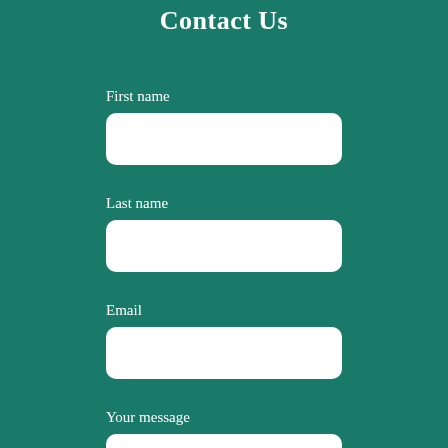Contact Us
First name
Last name
Email
Your message